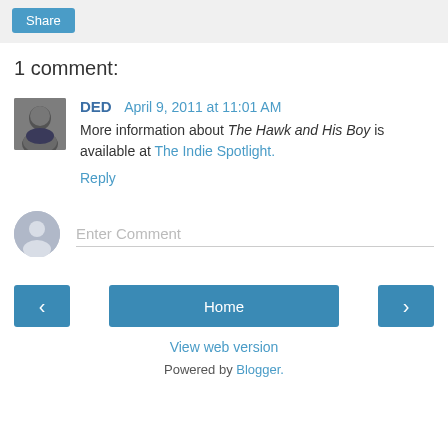[Figure (other): Share button bar with light gray background]
1 comment:
[Figure (photo): Avatar photo of commenter DED]
DED  April 9, 2011 at 11:01 AM
More information about The Hawk and His Boy is available at The Indie Spotlight.
Reply
[Figure (other): Anonymous user avatar circle for comment input]
Enter Comment
< Home > View web version Powered by Blogger.